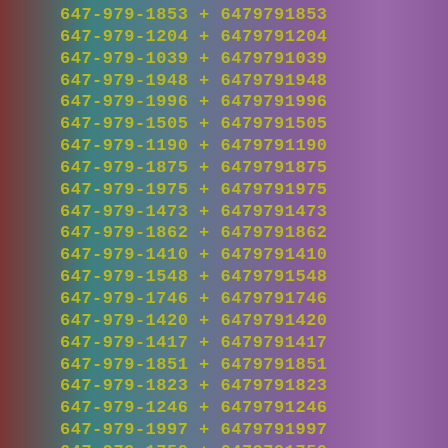647-979-1853 + 6479791853
647-979-1204 + 6479791204
647-979-1039 + 6479791039
647-979-1948 + 6479791948
647-979-1996 + 6479791996
647-979-1505 + 6479791505
647-979-1190 + 6479791190
647-979-1875 + 6479791875
647-979-1975 + 6479791975
647-979-1473 + 6479791473
647-979-1862 + 6479791862
647-979-1410 + 6479791410
647-979-1548 + 6479791548
647-979-1746 + 6479791746
647-979-1420 + 6479791420
647-979-1417 + 6479791417
647-979-1851 + 6479791851
647-979-1823 + 6479791823
647-979-1246 + 6479791246
647-979-1997 + 6479791997
647-979-1750 + 6479791750
647-979-1208 + 6479791208
647-979-1587 + 6479791587